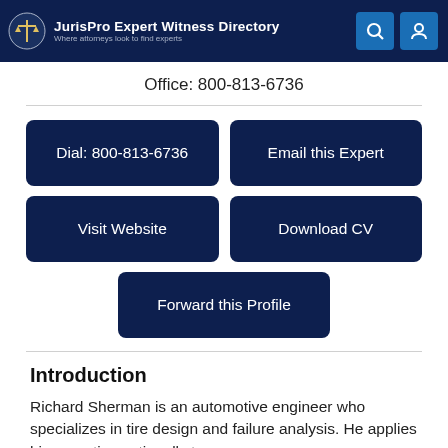JurisPro Expert Witness Directory — Where attorneys look to find experts
Office: 800-813-6736
Dial: 800-813-6736
Email this Expert
Visit Website
Download CV
Forward this Profile
Introduction
Richard Sherman is an automotive engineer who specializes in tire design and failure analysis. He applies his expertise nationally to